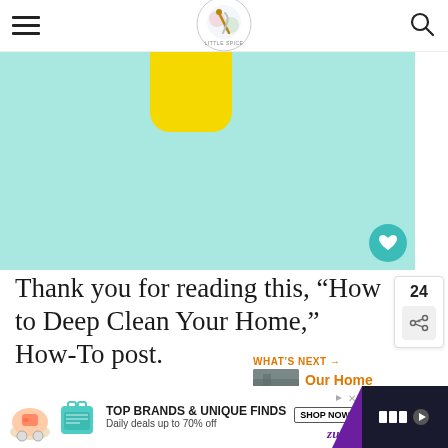Navigation header with hamburger menu, blog logo, and search icon
[Figure (photo): Top-down photo on teal/mint background with yellow cleaning cup/brush partially visible at top center]
Thank you for reading this, “How to Deep Clean Your Home,” How-To post.
If you have any cleaning ideas or suggestions
[Figure (infographic): Advertisement banner: TOP BRANDS & UNIQUE FINDS Daily deals up to 70% off with SHOP NOW button, zulily branding, shoe and bag images]
[Figure (infographic): What's next promo: Our Home Before Photos with orange arrow and thumbnail image]